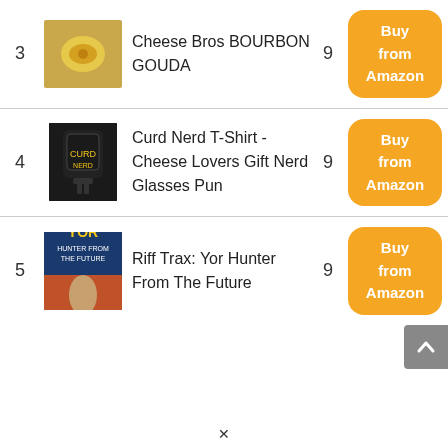3 | Cheese Bros BOURBON GOUDA | 9 | Buy from Amazon
4 | Curd Nerd T-Shirt - Cheese Lovers Gift Nerd Glasses Pun | 9 | Buy from Amazon
5 | Riff Trax: Yor Hunter From The Future | 9 | Buy from Amazon